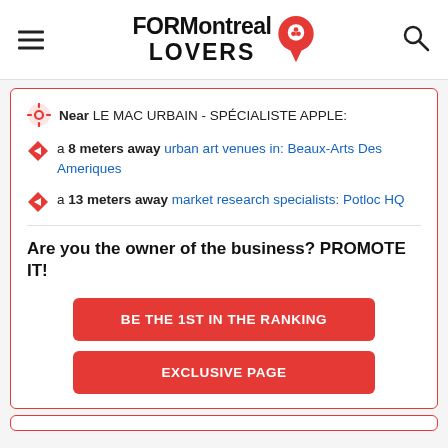FORMontreal LOVERS
Near LE MAC URBAIN - SPÉCIALISTE APPLE:
a 8 meters away urban art venues in: Beaux-Arts Des Ameriques
a 13 meters away market research specialists: Potloc HQ
Are you the owner of the business? PROMOTE IT!
BE THE 1ST IN THE RANKING
EXCLUSIVE PAGE